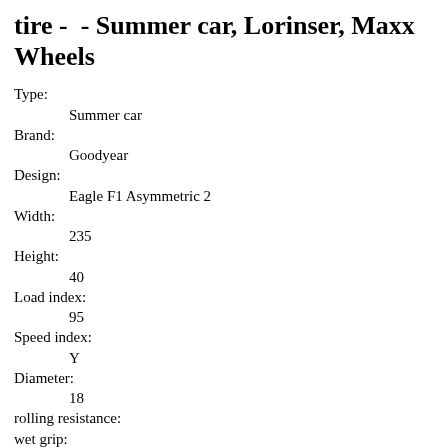tire -  - Summer car, Lorinser, Maxx Wheels
Type:
    Summer car
Brand:
    Goodyear
Design:
    Eagle F1 Asymmetric 2
Width:
    235
Height:
    40
Load index:
    95
Speed index:
    Y
Diameter:
    18
rolling resistance:
wet grip:
Noise emission:
Stock :
ap-natur100.com